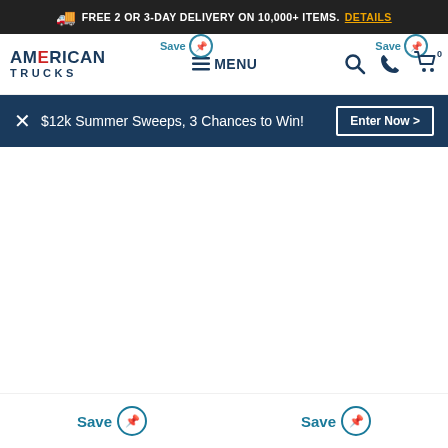FREE 2 OR 3-DAY DELIVERY ON 10,000+ ITEMS. DETAILS
[Figure (screenshot): American Trucks logo with navigation bar including MENU, search, phone, and cart icons]
$12k Summer Sweeps, 3 Chances to Win!
Enter Now >
Save
Save